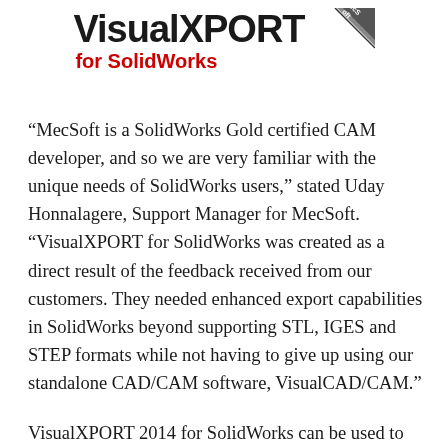[Figure (logo): VisualXPORT for SolidWorks logo with bold black 'VisualXPORT' text, red 'for SolidWorks' subtitle, and a MecSoft diagonal ribbon badge in the top-right corner]
“MecSoft is a SolidWorks Gold certified CAM developer, and so we are very familiar with the unique needs of SolidWorks users,” stated Uday Honnalagere, Support Manager for MecSoft. “VisualXPORT for SolidWorks was created as a direct result of the feedback received from our customers. They needed enhanced export capabilities in SolidWorks beyond supporting STL, IGES and STEP formats while not having to give up using our standalone CAD/CAM software, VisualCAD/CAM.”
VisualXPORT 2014 for SolidWorks can be used to export 2D & 3D Sketches (curves), solids with